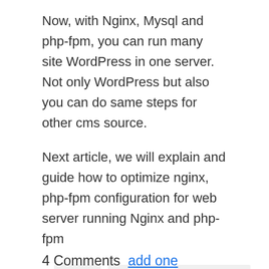Now, with Nginx, Mysql and php-fpm, you can run many site WordPress in one server. Not only WordPress but also you can do same steps for other cms source.
Next article, we will explain and guide how to optimize nginx, php-fpm configuration for web server running Nginx and php-fpm
CMS   Ubuntu   Wordpress
4 Comments  add one